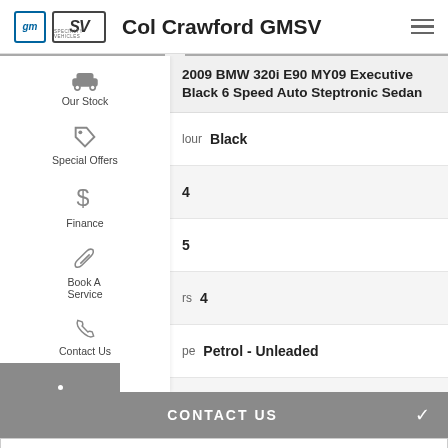Col Crawford GMSV
2009 BMW 320i E90 MY09 Executive Black 6 Speed Auto Steptronic Sedan
Colour: Black
4
5
rs: 4
pe: Petrol - Unleaded
2
CONTACT US
FINANCE THIS VEHICLE